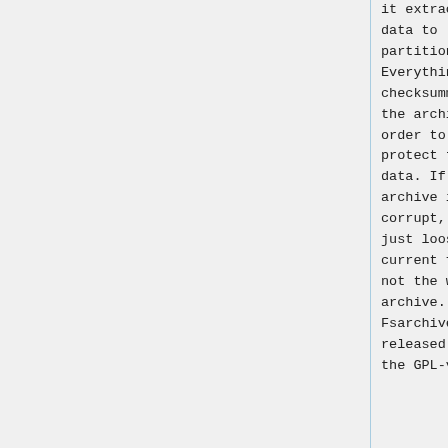it extracts the data to partitions. Everything is checksummed in the archive in order to protect the data. If the archive is corrupt, you just loose the current file, not the whole archive. Fsarchiver is released under the GPL-v2
it extracts the data to partitions. Everything is checksummed in the archive in order to protect the data. If the archive is corrupt, you just loose the current file, not the whole archive. Fsarchiver is released under the GPL-v2